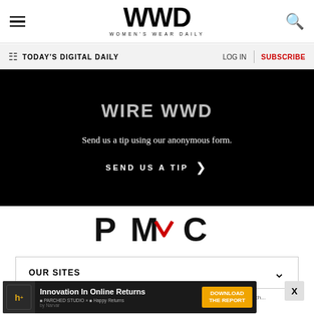WWD — Women's Wear Daily
TODAY'S DIGITAL DAILY  LOG IN  SUBSCRIBE
Send us a tip using our anonymous form.
SEND US A TIP
[Figure (logo): PMC (Penske Media Corporation) logo in black with red accent]
OUR SITES
WWD and Women's Wear Daily are part of Penske Media Corporation. © 2023 Fairchild Publishing, LLC. All Rights Reserved.
[Figure (screenshot): Advertisement banner: Innovation In Online Returns — Download The Report, by Narvar Studio x Happy Returns]